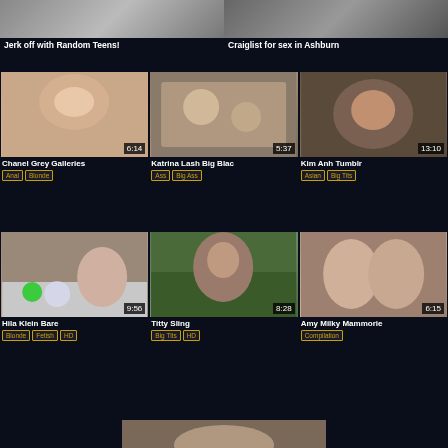[Figure (screenshot): Ad thumbnail - Jerk off with Random Teens!]
Jerk off with Random Teens!
[Figure (screenshot): Ad thumbnail - Craiglist for sex in Ashburn]
Craiglist for sex in Ashburn
[Figure (screenshot): Video thumbnail - Chanel Grey Galleries - duration 6:14]
Chanel Grey Galleries
Anal, Blonde
[Figure (screenshot): Video thumbnail - Katrina Lash Big Blac - duration 5:37]
Katrina Lash Big Blac
Ass, Big Ass
[Figure (screenshot): Video thumbnail - Kim Anh Tumblr - duration 13:10]
Kim Anh Tumblr
Asian, Big Tits
[Figure (screenshot): Video thumbnail - Hila Klein Bare - duration 9:56]
Hila Klein Bare
Blonde, Fetish, HD
[Figure (screenshot): Video thumbnail - Titty Sling - duration 8:28]
Titty Sling
Big Tits, HD
[Figure (screenshot): Video thumbnail - Amy Milky Mammorie - duration 6:15]
Amy Milky Mammorie
Compilation
[Figure (screenshot): Partial thumbnail at bottom of page]